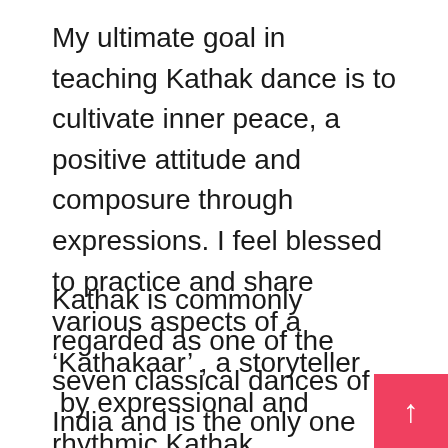My ultimate goal in teaching Kathak dance is to cultivate inner peace, a positive attitude and composure through expressions. I feel blessed to practice and share various aspects of a ‘Kathakaar’ , a storyteller  by expressional and rhythmic Kathak compositions with my students.
Kathak is commonly regarded as one of the seven classical dances of India and is the only one from North India. Kathak has been enriched greatly by the contributions of musicians, dancers, professional women artists, and court and landlord patronage.  She explained that Kathak is an dance form of Northern India and revolve...